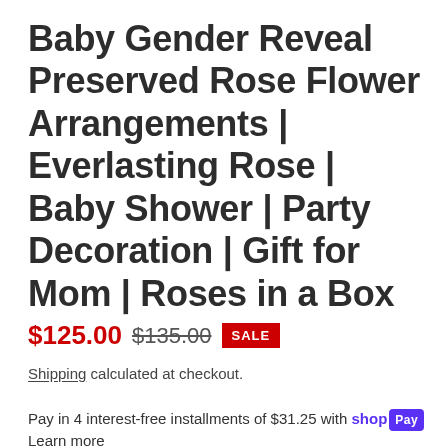Baby Gender Reveal Preserved Rose Flower Arrangements | Everlasting Rose | Baby Shower | Party Decoration | Gift for Mom | Roses in a Box
$125.00  $135.00  SALE
Shipping calculated at checkout.
Pay in 4 interest-free installments of $31.25 with shop Pay
Learn more